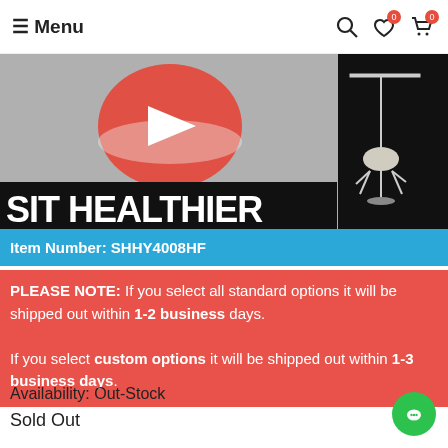≡ Menu
[Figure (screenshot): YouTube video thumbnail banner with SIT HEALTHIER text and a chair image on the right]
Item Number: SHHY4008HF
PLEASE NOTE: If you select all standard options it will be shipped out within 1-2 business days. If you select custom options it will be shipped out within 1-3 business days.
Availability: Out-Stock
Sold Out